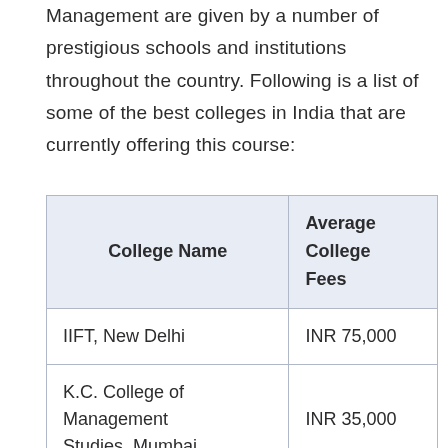Management are given by a number of prestigious schools and institutions throughout the country. Following is a list of some of the best colleges in India that are currently offering this course:
| College Name | Average College Fees |
| --- | --- |
| IIFT, New Delhi | INR 75,000 |
| K.C. College of Management Studies, Mumbai | INR 35,000 |
| Marine Institute of Business... |  |